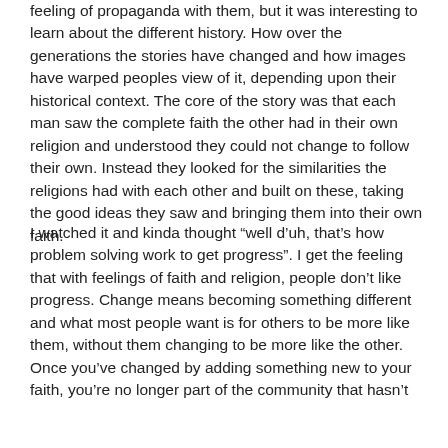feeling of propaganda with them, but it was interesting to learn about the different history. How over the generations the stories have changed and how images have warped peoples view of it, depending upon their historical context. The core of the story was that each man saw the complete faith the other had in their own religion and understood they could not change to follow their own. Instead they looked for the similarities the religions had with each other and built on these, taking the good ideas they saw and bringing them into their own faith.
I watched it and kinda thought “well d’uh, that’s how problem solving work to get progress”. I get the feeling that with feelings of faith and religion, people don’t like progress. Change means becoming something different and what most people want is for others to be more like them, without them changing to be more like the other. Once you’ve changed by adding something new to your faith, you’re no longer part of the community that hasn’t